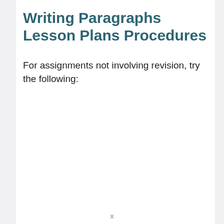Writing Paragraphs Lesson Plans Procedures
For assignments not involving revision, try the following: